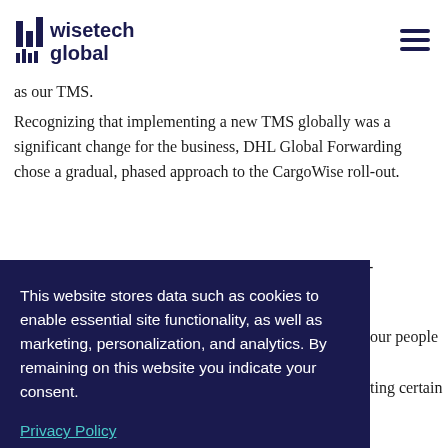WiseTech Global [logo] [hamburger menu]
as our TMS.
Recognizing that implementing a new TMS globally was a significant change for the business, DHL Global Forwarding chose a gradual, phased approach to the CargoWise roll-out.
“We deployed CargoWise in a controlled, but very well-established way to make sure that our organization was
This website stores data such as cookies to enable essential site functionality, as well as marketing, personalization, and analytics. By remaining on this website you indicate your consent.
Privacy Policy
our people
ting certain
It help us along the way to with